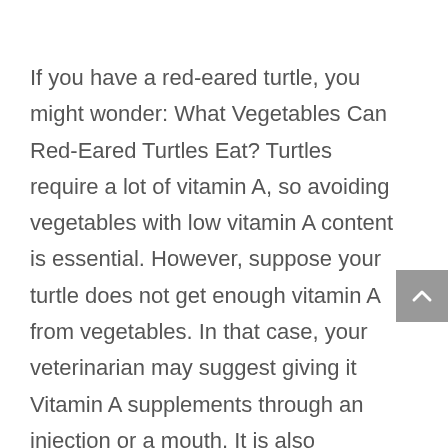If you have a red-eared turtle, you might wonder: What Vegetables Can Red-Eared Turtles Eat? Turtles require a lot of vitamin A, so avoiding vegetables with low vitamin A content is essential. However, suppose your turtle does not get enough vitamin A from vegetables. In that case, your veterinarian may suggest giving it Vitamin A supplements through an injection or a mouth. It is also important to remember that turtles frequently defecate while eating, so you should keep their food in a separate container